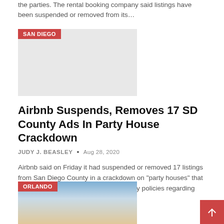the parties. The rental booking company said listings have been suspended or removed from its…
[Figure (photo): Gray placeholder image with SAN DIEGO category tag in red]
Airbnb Suspends, Removes 17 SD County Ads In Party House Crackdown
JUDY J. BEASLEY • Aug 28, 2020
Airbnb said on Friday it had suspended or removed 17 listings from San Diego County in a crackdown on "party houses" that received complaints or violated company policies regarding parties and…
[Figure (photo): Outdoor scene with blue sky and clouds, people visible, ORLANDO category tag in red]